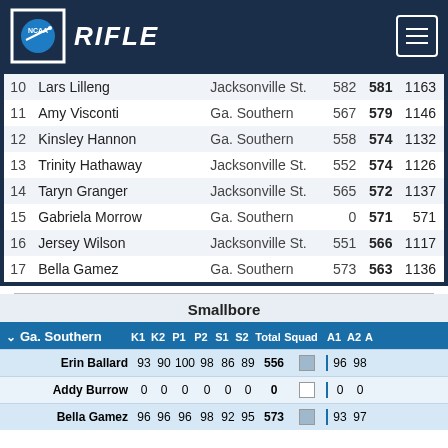NCAA RIFLE
| # | Name | School | Score1 | Score2 | Total |
| --- | --- | --- | --- | --- | --- |
| 10 | Lars Lilleng | Jacksonville St. | 582 | 581 | 1163 |
| 11 | Amy Visconti | Ga. Southern | 567 | 579 | 1146 |
| 12 | Kinsley Hannon | Ga. Southern | 558 | 574 | 1132 |
| 13 | Trinity Hathaway | Jacksonville St. | 552 | 574 | 1126 |
| 14 | Taryn Granger | Jacksonville St. | 565 | 572 | 1137 |
| 15 | Gabriela Morrow | Ga. Southern | 0 | 571 | 571 |
| 16 | Jersey Wilson | Jacksonville St. | 551 | 566 | 1117 |
| 17 | Bella Gamez | Ga. Southern | 573 | 563 | 1136 |
Smallbore
| Team | K1 | K2 | P1 | P2 | S1 | S2 | Total | Squad | A1 | A2 |
| --- | --- | --- | --- | --- | --- | --- | --- | --- | --- | --- |
| Erin Ballard | 93 | 90 | 100 | 98 | 86 | 89 | 556 |  | 96 | 98 |
| Addy Burrow | 0 | 0 | 0 | 0 | 0 | 0 | 0 |  | 0 | 0 |
| Bella Gamez | 96 | 96 | 96 | 98 | 92 | 95 | 573 |  | 93 | 97 |